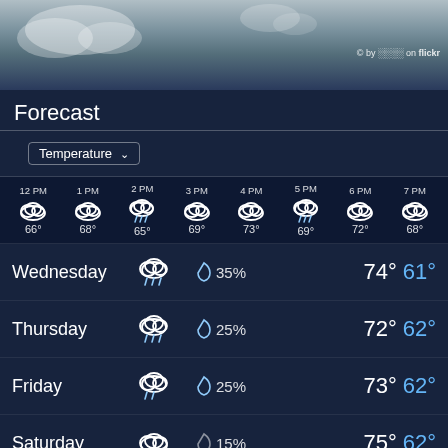[Figure (photo): Cloudy sky background photo]
© by ??? on flickr
Forecast
| Time | Icon | Temp |
| --- | --- | --- |
| 12 PM | cloudy | 66° |
| 1 PM | cloudy | 68° |
| 2 PM | rain | 65° |
| 3 PM | cloudy | 69° |
| 4 PM | cloudy | 73° |
| 5 PM | rain | 69° |
| 6 PM | cloudy | 72° |
| 7 PM | cloudy | 68° |
| Day | Icon | Precip% | High | Low |
| --- | --- | --- | --- | --- |
| Wednesday | rain-cloud | 35% | 74° | 61° |
| Thursday | rain-cloud | 25% | 72° | 62° |
| Friday | rain-cloud | 25% | 73° | 62° |
| Saturday | cloudy | 15% | 75° | 62° |
| Sunday | rain-cloud | 35% | 68° | 61° |
| Monday | cloudy | 0% | 65° | 59° |
| Tuesday | partly-sunny | 0% | 69° | 60° |